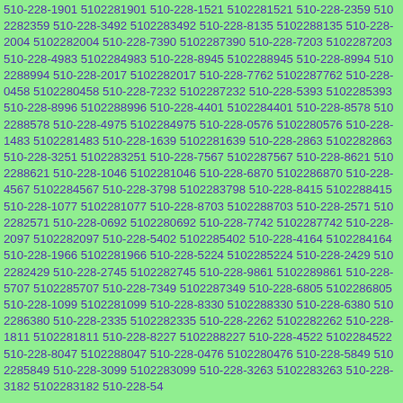510-228-1901 5102281901 510-228-1521 5102281521 510-228-2359 5102282359 510-228-3492 5102283492 510-228-8135 5102288135 510-228-2004 5102282004 510-228-7390 5102287390 510-228-7203 5102287203 510-228-4983 5102284983 510-228-8945 5102288945 510-228-8994 5102288994 510-228-2017 5102282017 510-228-7762 5102287762 510-228-0458 5102280458 510-228-7232 5102287232 510-228-5393 5102285393 510-228-8996 5102288996 510-228-4401 5102284401 510-228-8578 5102288578 510-228-4975 5102284975 510-228-0576 5102280576 510-228-1483 5102281483 510-228-1639 5102281639 510-228-2863 5102282863 510-228-3251 5102283251 510-228-7567 5102287567 510-228-8621 5102288621 510-228-1046 5102281046 510-228-6870 5102286870 510-228-4567 5102284567 510-228-3798 5102283798 510-228-8415 5102288415 510-228-1077 5102281077 510-228-8703 5102288703 510-228-2571 5102282571 510-228-0692 5102280692 510-228-7742 5102287742 510-228-2097 5102282097 510-228-5402 5102285402 510-228-4164 5102284164 510-228-1966 5102281966 510-228-5224 5102285224 510-228-2429 5102282429 510-228-2745 5102282745 510-228-9861 5102289861 510-228-5707 5102285707 510-228-7349 5102287349 510-228-6805 5102286805 510-228-1099 5102281099 510-228-8330 5102288330 510-228-6380 5102286380 510-228-2335 5102282335 510-228-2262 5102282262 510-228-1811 5102281811 510-228-8227 5102288227 510-228-4522 5102284522 510-228-8047 5102288047 510-228-0476 5102280476 510-228-5849 5102285849 510-228-3099 5102283099 510-228-3263 5102283263 510-228-3182 5102283182 510-228-54